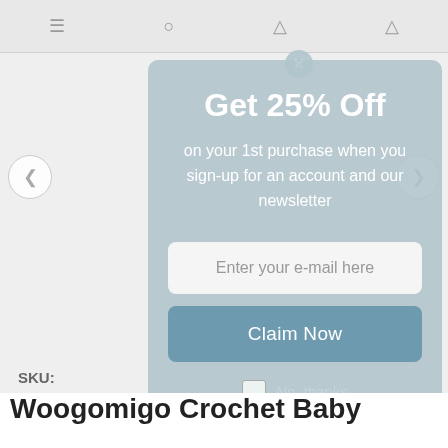[Figure (screenshot): Website navigation bar with hamburger menu, search, cart, and user icons on a light gray background]
[Figure (infographic): Modal popup with blue-gray background offering 25% off discount for signing up with email. Contains email input field, Claim Now button, and No thanks option]
Get 25% Off
on your 1st purchase when you sign-up for an account and our newsletter
Enter your e-mail here
Claim Now
No, thanks
SKU:
Woogomigo Crochet Baby